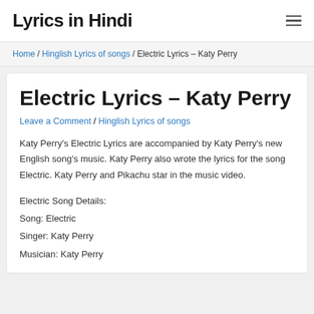Lyrics in Hindi
Home / Hinglish Lyrics of songs / Electric Lyrics – Katy Perry
Electric Lyrics – Katy Perry
Leave a Comment / Hinglish Lyrics of songs
Katy Perry's Electric Lyrics are accompanied by Katy Perry's new English song's music. Katy Perry also wrote the lyrics for the song Electric. Katy Perry and Pikachu star in the music video.
Electric Song Details:
Song: Electric
Singer: Katy Perry
Musician: Katy Perry